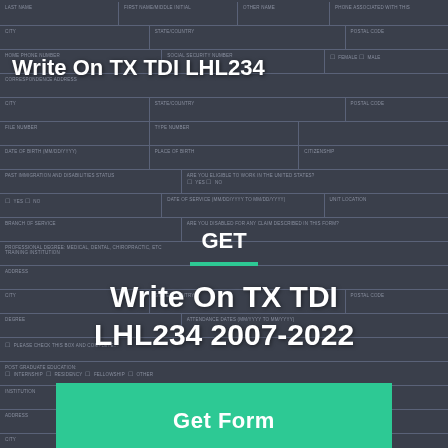Write On TX TDI LHL234
GET
Write On TX TDI LHL234 2007-2022
Get Form